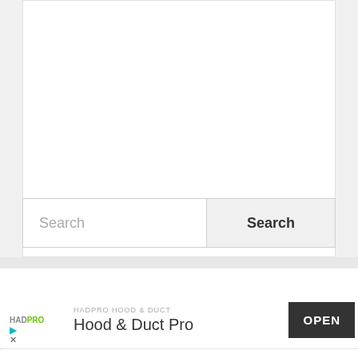[Figure (screenshot): White card area at top of page, empty content area]
[Figure (screenshot): Search bar with text input field labeled 'Search' and a button labeled 'Search']
[Figure (screenshot): Advertisement banner for HADPRO HOOD & DUCT app showing logo, title 'Hood & Duct Pro' and an OPEN button]